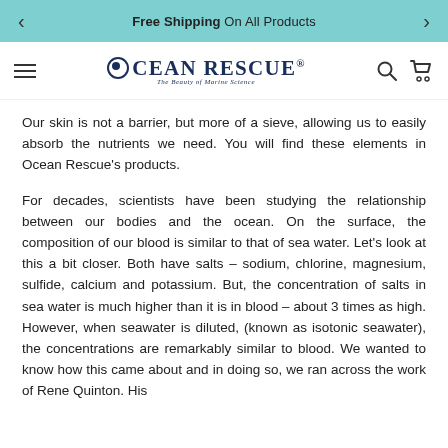< Free Shipping On All Products >
[Figure (logo): Ocean Rescue logo with tagline 'The Beauty of Marine Science']
Our skin is not a barrier, but more of a sieve, allowing us to easily absorb the nutrients we need. You will find these elements in Ocean Rescue's products.
For decades, scientists have been studying the relationship between our bodies and the ocean. On the surface, the composition of our blood is similar to that of sea water. Let's look at this a bit closer. Both have salts – sodium, chlorine, magnesium, sulfide, calcium and potassium. But, the concentration of salts in sea water is much higher than it is in blood – about 3 times as high. However, when seawater is diluted, (known as isotonic seawater), the concentrations are remarkably similar to blood. We wanted to know how this came about and in doing so, we ran across the work of Rene Quinton. His